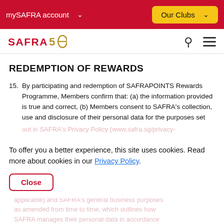mySAFRA account   Our Clubs
[Figure (logo): SAFRA 50th anniversary logo with red text and gold numeral]
REDEMPTION OF REWARDS
15. By participating and redemption of SAFRAPOINTS Rewards Programme, Members confirm that: (a) the information provided is true and correct, (b) Members consent to SAFRA's collection, use and disclosure of their personal data for the purposes set out in SAFRA's Privacy Policy (www.safra.sg/privacy-...
To offer you a better experience, this site uses cookies. Read more about cookies in our Privacy Policy.
Close
...applicable) and SAFRA's general business purposes as amended from time to time, which outlines how SAFRA manages their personal data in accordance